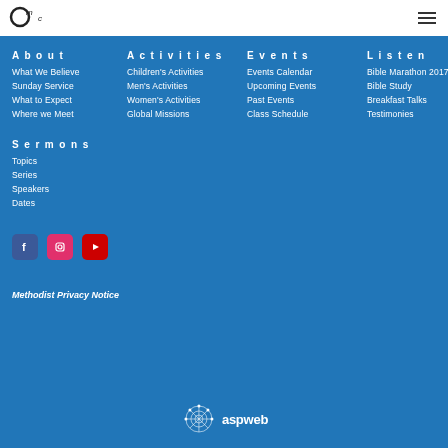[Figure (logo): OMC handwritten logo in top left header]
[Figure (other): Hamburger menu icon top right]
About
What We Believe
Sunday Service
What to Expect
Where we Meet
Activities
Children's Activities
Men's Activities
Women's Activities
Global Missions
Events
Events Calendar
Upcoming Events
Past Events
Class Schedule
Listen
Bible Marathon 2017
Bible Study
Breakfast Talks
Testimonies
Sermons
Topics
Series
Speakers
Dates
[Figure (other): Social media icons: Facebook, Instagram, YouTube]
Methodist Privacy Notice
[Figure (logo): aspweb spider web logo at bottom center]